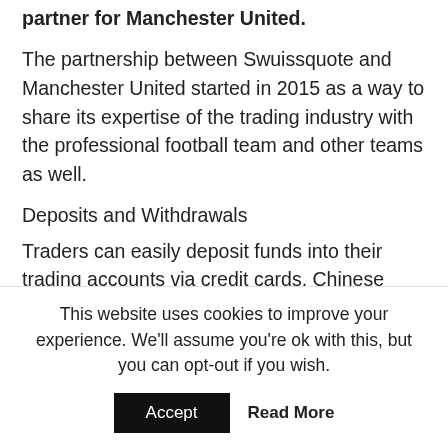partner for Manchester United.
The partnership between Swuissquote and Manchester United started in 2015 as a way to share its expertise of the trading industry with the professional football team and other teams as well.
Deposits and Withdrawals
Traders can easily deposit funds into their trading accounts via credit cards, Chinese UnionPay, and bank transfer. The company does not impose a minimum amount for fund deposits. However, the broker does advise that traders be aware of the fees charged by corresponding banks involved with the withdrawal process to ensure that they know what's
This website uses cookies to improve your experience. We'll assume you're ok with this, but you can opt-out if you wish.
Accept   Read More